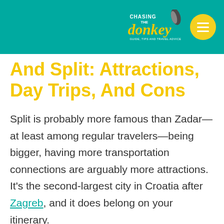Chasing the Donkey
And Split: Attractions, Day Trips, And Cons
Split is probably more famous than Zadar—at least among regular travelers—being bigger, having more transportation connections are arguably more attractions. It's the second-largest city in Croatia after Zagreb, and it does belong on your itinerary.